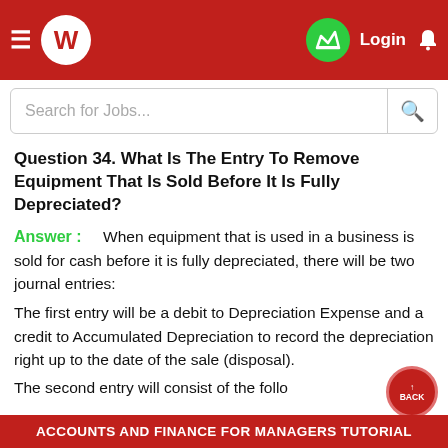Accounts and Finance for Managers Tutorial — App navigation bar with logo, login, crown icon
Search for Jobs...
Question 34. What Is The Entry To Remove Equipment That Is Sold Before It Is Fully Depreciated?
Answer : When equipment that is used in a business is sold for cash before it is fully depreciated, there will be two journal entries:
The first entry will be a debit to Depreciation Expense and a credit to Accumulated Depreciation to record the depreciation right up to the date of the sale (disposal).
The second entry will consist of the following:
ACCOUNTS AND FINANCE FOR MANAGERS TUTORIAL